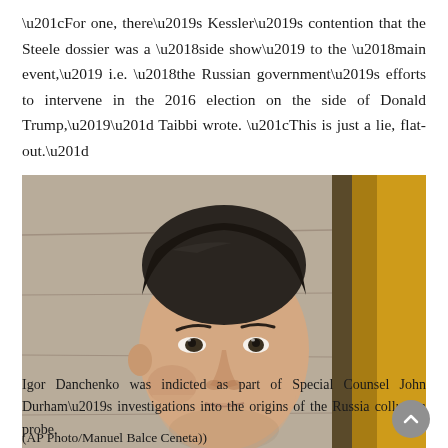“For one, there’s Kessler’s contention that the Steele dossier was a ‘side show’ to the ‘main event,’ i.e. ‘the Russian government’s efforts to intervene in the 2016 election on the side of Donald Trump,’” Taibbi wrote. “This is just a lie, flat-out.”
[Figure (photo): Portrait photo of Igor Danchenko, a man in a white shirt with short dark hair, looking to the side. Photo credit: AP Photo/Manuel Balce Ceneta]
Igor Danchenko was indicted as part of Special Counsel John Durham’s investigations into the origins of the Russia collusion probe.
(AP Photo/Manuel Balce Ceneta))